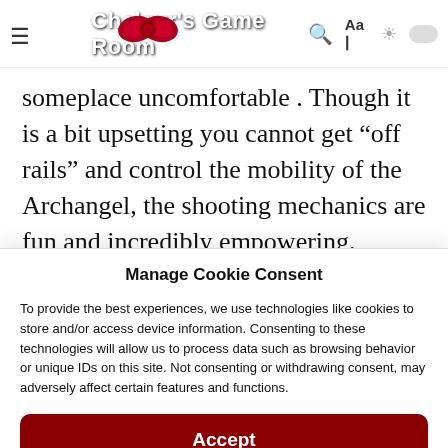Chalgyr's Game Room
someplace uncomfortable . Though it is a bit upsetting you cannot get “off rails” and control the mobility of the Archangel, the shooting mechanics are fun and incredibly empowering.
Manage Cookie Consent
To provide the best experiences, we use technologies like cookies to store and/or access device information. Consenting to these technologies will allow us to process data such as browsing behavior or unique IDs on this site. Not consenting or withdrawing consent, may adversely affect certain features and functions.
Accept
Cookie Policy   Privacy Statement